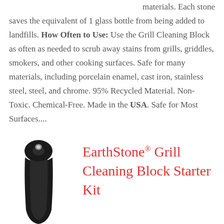materials. Each stone saves the equivalent of 1 glass bottle from being added to landfills. How Often to Use: Use the Grill Cleaning Block as often as needed to scrub away stains from grills, griddles, smokers, and other cooking surfaces. Safe for many materials, including porcelain enamel, cast iron, stainless steel, steel, and chrome. 95% Recycled Material. Non-Toxic. Chemical-Free. Made in the USA. Safe for Most Surfaces....
[Figure (photo): Black grill cleaning tool/brush handle, dark elongated shape with a hole at the top]
EarthStone® Grill Cleaning Block Starter Kit